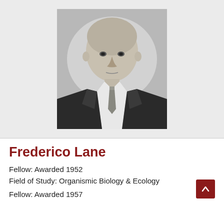[Figure (photo): Black and white portrait photograph of Frederico Lane, a middle-aged bald man wearing a dark suit and patterned tie, looking directly at the camera against a light background.]
Frederico Lane
Fellow: Awarded 1952
Field of Study: Organismic Biology & Ecology
Fellow: Awarded 1957